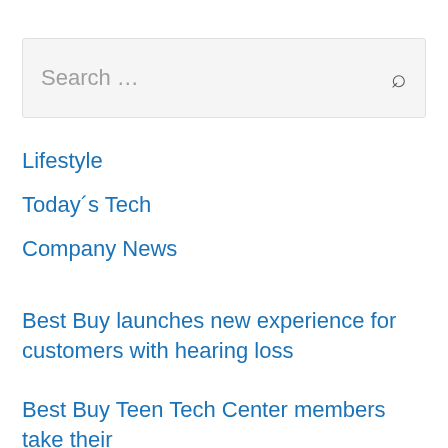[Figure (screenshot): Search bar with placeholder text 'Search …' and a search icon on the right]
Lifestyle
Today´s Tech
Company News
Best Buy launches new experience for customers with hearing loss
Best Buy Teen Tech Center members take their